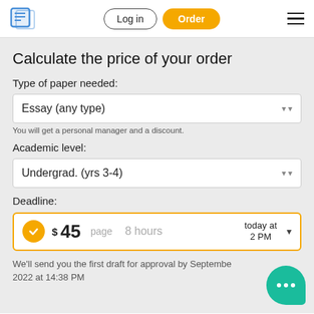Log in | Order
Calculate the price of your order
Type of paper needed:
Essay (any type)
You will get a personal manager and a discount.
Academic level:
Undergrad. (yrs 3-4)
Deadline:
$45 page   8 hours   today at 2 PM
We'll send you the first draft for approval by September 2022 at 14:38 PM